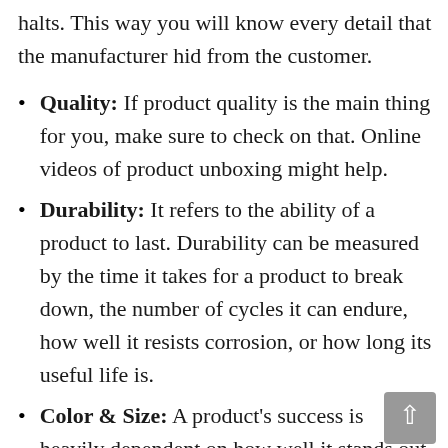halts. This way you will know every detail that the manufacturer hid from the customer.
Quality: If product quality is the main thing for you, make sure to check on that. Online videos of product unboxing might help.
Durability: It refers to the ability of a product to last. Durability can be measured by the time it takes for a product to break down, the number of cycles it can endure, how well it resists corrosion, or how long its useful life is.
Color & Size: A product's success is heavily dependent on how well it stands out among the competition. Customers are willing to spend more money on products that stand out and make an impact. Size affects the amount that can be stored, the total weight,